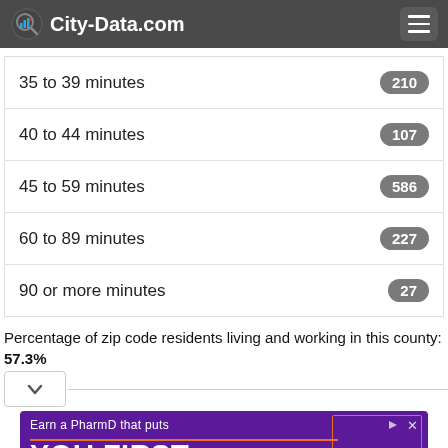City-Data.com
35 to 39 minutes
40 to 44 minutes
45 to 59 minutes
60 to 89 minutes
90 or more minutes
Percentage of zip code residents living and working in this county: 57.3%
[Figure (other): Advertisement banner for High Point University PharmD program: 'Earn a PharmD that puts YOU FIRST. LEARN MORE. HIGH POINT UNIVERSITY']